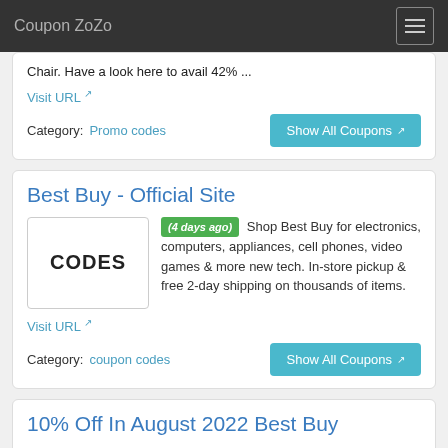Coupon ZoZo
Chair. Have a look here to avail 42% ...
Visit URL
Category: Promo codes
Show All Coupons
Best Buy - Official Site
(4 days ago) Shop Best Buy for electronics, computers, appliances, cell phones, video games & more new tech. In-store pickup & free 2-day shipping on thousands of items.
Visit URL
Category: coupon codes
Show All Coupons
10% Off In August 2022 Best Buy